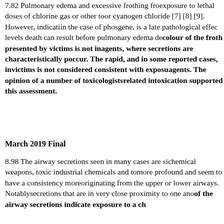7.82 Pulmonary edema and excessive frothing from exposure to lethal doses of chlorine gas or other to or cyanogen chloride [7] [8] [9]. However, indicati in the case of phosgene, is a late pathological effec levels death can result before pulmonary edema de colour of the froth presented by victims is not in agents, where secretions are characteristically p occur. The rapid, and in some reported cases, in victims is not considered consistent with exposu agents. The opinion of a number of toxicologists related intoxication supported this assessment.
March 2019 Final
8.98 The airway secretions seen in many cases are si chemical weapons, toxic industrial chemicals and to more profound and seem to have a consistency more originating from the upper or lower airways. Notably secretions that are in very close proximity to one ano of the airway secretions indicate exposure to a ch